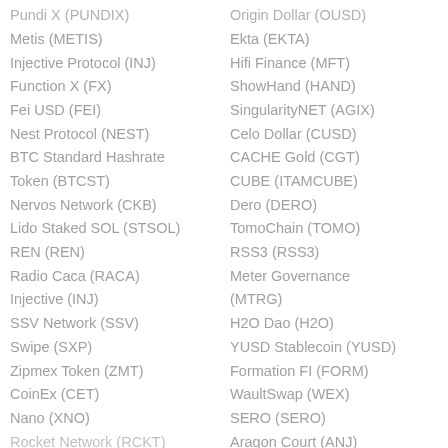Pundi X (PUNDIX)
Metis (METIS)
Injective Protocol (INJ)
Function X (FX)
Fei USD (FEI)
Nest Protocol (NEST)
BTC Standard Hashrate Token (BTCST)
Nervos Network (CKB)
Lido Staked SOL (STSOL)
REN (REN)
Radio Caca (RACA)
Injective (INJ)
SSV Network (SSV)
Swipe (SXP)
Zipmex Token (ZMT)
CoinEx (CET)
Nano (XNO)
Rocket Network (RCKT)
Origin Dollar (OUSD)
Ekta (EKTA)
Hifi Finance (MFT)
ShowHand (HAND)
SingularityNET (AGIX)
Celo Dollar (CUSD)
CACHE Gold (CGT)
CUBE (ITAMCUBE)
Dero (DERO)
TomoChain (TOMO)
RSS3 (RSS3)
Meter Governance (MTRG)
H2O Dao (H2O)
YUSD Stablecoin (YUSD)
Formation FI (FORM)
WaultSwap (WEX)
SERO (SERO)
Aragon Court (ANJ)
Frax Set Dollar (FSD)